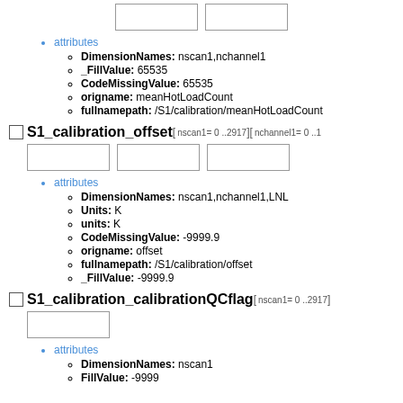[Figure (other): Two empty input boxes at top of page]
attributes
DimensionNames: nscan1,nchannel1
_FillValue: 65535
CodeMissingValue: 65535
origname: meanHotLoadCount
fullnamepath: /S1/calibration/meanHotLoadCount
S1_calibration_offset[ nscan1= 0 ..2917] [ nchannel1= 0 ..1
[Figure (other): Three empty input boxes]
attributes
DimensionNames: nscan1,nchannel1,LNL
Units: K
units: K
CodeMissingValue: -9999.9
origname: offset
fullnamepath: /S1/calibration/offset
_FillValue: -9999.9
S1_calibration_calibrationQCflag[ nscan1= 0 ..2917]
[Figure (other): One empty input box]
attributes
DimensionNames: nscan1
FillValue: -9999